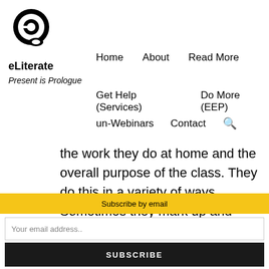[Figure (logo): eLiterate logo: circular icon with stylized 'e' inside a head silhouette, black on white]
eLiterate   Home   About   Read More   Present is Prologue   Get Help (Services)   Do More (EEP)   un-Webinars   Contact
the work they do at home and the overall purpose of the class. They do this in a variety of ways. Sometimes they mark up and
Subscribe by email
Your email address..
SUBSCRIBE